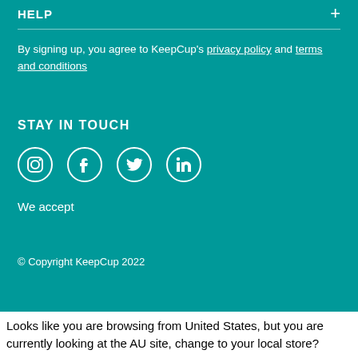HELP
By signing up, you agree to KeepCup's privacy policy and terms and conditions
STAY IN TOUCH
[Figure (illustration): Social media icons: Instagram, Facebook, Twitter, LinkedIn — white circles on teal background]
We accept
© Copyright KeepCup 2022
Looks like you are browsing from United States, but you are currently looking at the AU site, change to your local store?